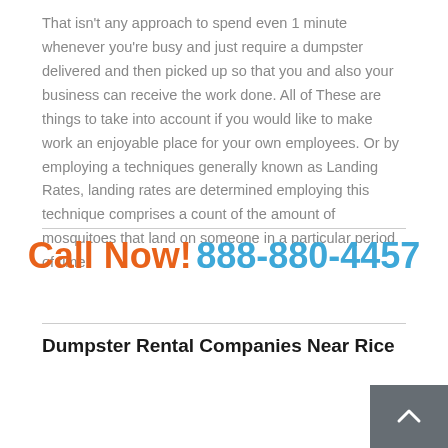That isn't any approach to spend even 1 minute whenever you're busy and just require a dumpster delivered and then picked up so that you and also your business can receive the work done. All of These are things to take into account if you would like to make work an enjoyable place for your own employees. Or by employing a techniques generally known as Landing Rates, landing rates are determined employing this technique comprises a count of the amount of mosquitoes that land on someone in a particular period of time.
Call Now! 888-880-4457
Dumpster Rental Companies Near Rice
| Company Name | Phone |
| --- | --- |